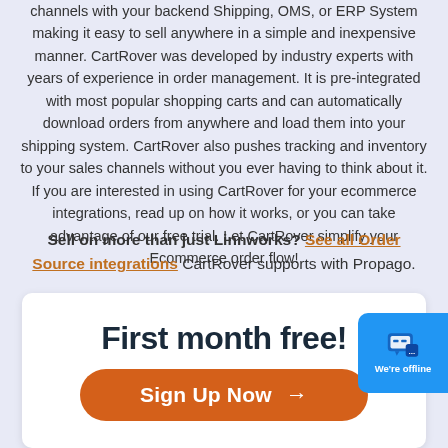channels with your backend Shipping, OMS, or ERP System making it easy to sell anywhere in a simple and inexpensive manner. CartRover was developed by industry experts with years of experience in order management. It is pre-integrated with most popular shopping carts and can automatically download orders from anywhere and load them into your shipping system. CartRover also pushes tracking and inventory to your sales channels without you ever having to think about it. If you are interested in using CartRover for your ecommerce integrations, read up on how it works, or you can take advantage of our free trial. Let CartRover simplify your Ecommerce order flow!
Sell on more than just Linnworks? See all Order Source integrations CartRover supports with Propago.
First month free!
Sign Up Now →
[Figure (other): Blue chat widget in bottom right corner showing speech bubble icon and 'We're offline' text]